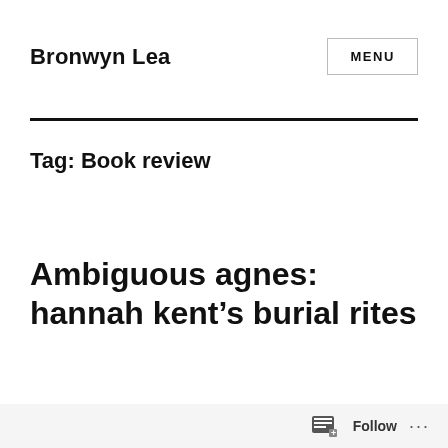Bronwyn Lea
Tag: Book review
Ambiguous agnes: hannah kent's burial rites
Follow